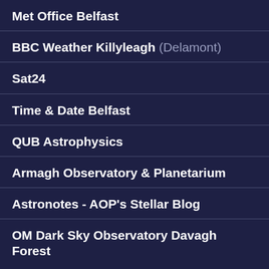Met Office Belfast
BBC Weather Killyleagh (Delamont)
Sat24
Time & Date Belfast
QUB Astrophysics
Armagh Observatory & Planetarium
Astronotes - AOP's Stellar Blog
OM Dark Sky Observatory Davagh Forest